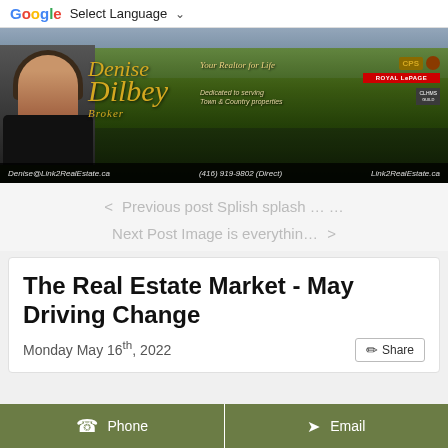[Figure (screenshot): Google Translate select language widget with dropdown chevron]
[Figure (photo): Denise Dilbey Broker banner with realtor photo, rural landscape background, Royal LePage logo, contact info: Denise@Link2RealEstate.ca, (416) 919-9802 (Direct), Link2RealEstate.ca]
< Previous post Splish splash … …
Next Post Image is everythin… >
The Real Estate Market - May Driving Change
Monday May 16th, 2022
Phone
Email